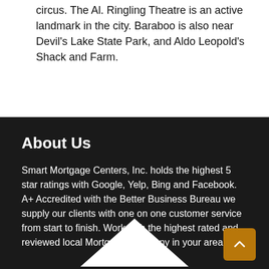circus. The Al. Ringling Theatre is an active landmark in the city. Baraboo is also near Devil's Lake State Park, and Aldo Leopold's Shack and Farm.
About Us
Smart Mortgage Centers, Inc. holds the highest 5 star ratings with Google, Yelp, Bing and Facebook. A+ Accredited with the Better Business Bureau we supply our clients with one on one customer service from start to finish. Work with the highest rated and reviewed local Mortgage Company in your area.
[Figure (illustration): White house/roof icon at the bottom center of the dark section]